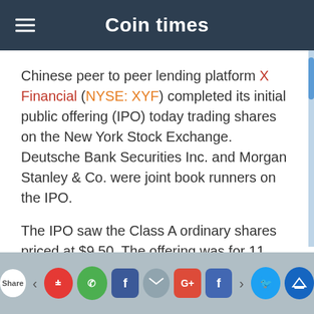Coin times
Chinese peer to peer lending platform X Financial (NYSE: XYF) completed its initial public offering (IPO) today trading shares on the New York Stock Exchange. Deutsche Bank Securities Inc. and Morgan Stanley & Co. were joint book runners on the IPO.
The IPO saw the Class A ordinary shares priced at $9.50. The offering was for 11 million American Depository Shares (ADSs) thus representing a raise of about $104.5 million. Shares initially traded much higher jumping to over $20/share at one point but